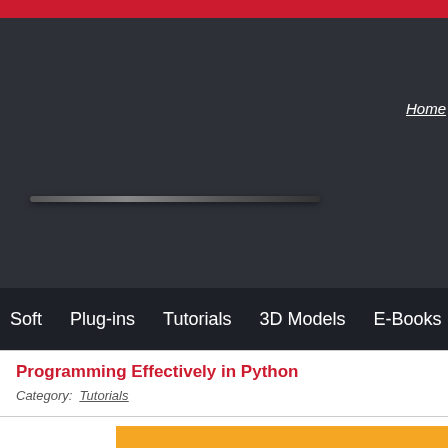Home
Soft  Plug-ins  Tutorials  3D Models  E-Books  Maga
Programming Effectively in Python
Category: Tutorials
[Figure (illustration): Orange background illustration partially visible at bottom of page]